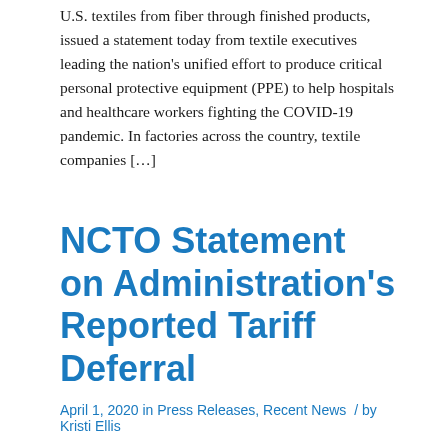U.S. textiles from fiber through finished products, issued a statement today from textile executives leading the nation's unified effort to produce critical personal protective equipment (PPE) to help hospitals and healthcare workers fighting the COVID-19 pandemic. In factories across the country, textile companies [...]
NCTO Statement on Administration's Reported Tariff Deferral
April 1, 2020 in Press Releases, Recent News  / by Kristi Ellis
WASHINGTON—The National Council of Textile Organizations (NCTO), representing the full spectrum of U.S. textiles from fiber through finished products, issued a statement from NCTO President and CEO Kim Glas today